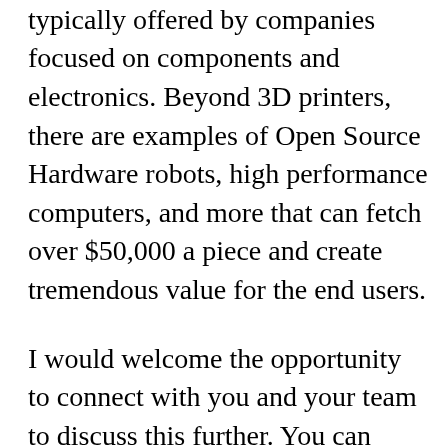average sale price products (<$100) typically offered by companies focused on components and electronics. Beyond 3D printers, there are examples of Open Source Hardware robots, high performance computers, and more that can fetch over $50,000 a piece and create tremendous value for the end users.
I would welcome the opportunity to connect with you and your team to discuss this further. You can contact me with the email I used here for my Pololu account, on Twitter @harriskenny, or by emailing info@oshdata.com.
Either way, thanks so much for everything you do. Hang in there, the